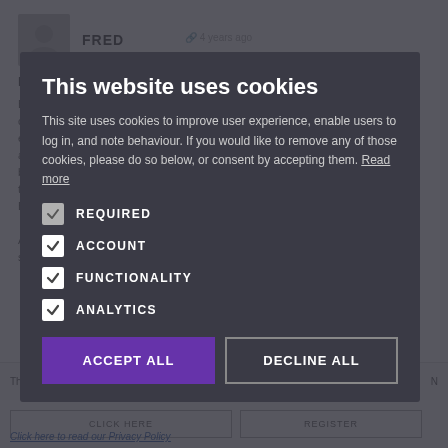[Figure (screenshot): Background webpage content showing a user profile avatar (grey silhouette icon), username FRED with share icon and '4 years ago' timestamp, and partially visible article text about dress shirts and informal jackets.]
This website uses cookies
This site uses cookies to improve user experience, enable users to log in, and note behaviour. If you would like to remove any of those cookies, please do so below, or consent by accepting them. Read more
REQUIRED
ACCOUNT
FUNCTIONALITY
ANALYTICS
ACCEPT ALL
DECLINE ALL
Click here to read our Privacy Policy